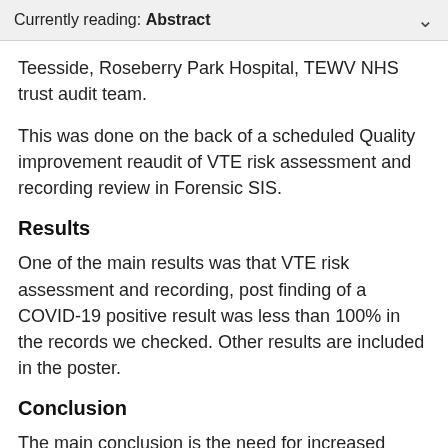Currently reading: Abstract
Teesside, Roseberry Park Hospital, TEWV NHS trust audit team.
This was done on the back of a scheduled Quality improvement reaudit of VTE risk assessment and recording review in Forensic SIS.
Results
One of the main results was that VTE risk assessment and recording, post finding of a COVID-19 positive result was less than 100% in the records we checked. Other results are included in the poster.
Conclusion
The main conclusion is the need for increased vigilance in assessment and recording of (and any actions